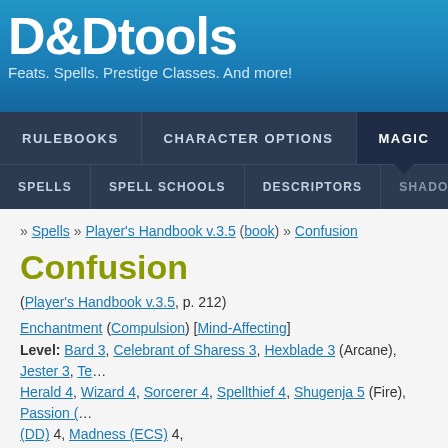D&Dtools — Feats. Spells. Prestige Classes. And more!
Confusion
» Spells » Player's Handbook v.3.5 (book) » Confusion
(Player's Handbook v.3.5, p. 212)
Enchantment (Compulsion) [Mind-Affecting]
Level: Bard 3, Celebrant of Sharess 3, Hexblade 3 (Arcane), Jester 3, Te... Herald 4, Wizard 4, Sorcerer 4, Spellthief 4, Shugenja 5 (Fire), Passion (...) (DD) 4, Madness (ECS) 4,
Components: V, S, M, DF
Casting Time: 1 standard action
Range: Medium (100 ft. + 10 ft./level)
Target: All creatures in a 15-ft. radius burst